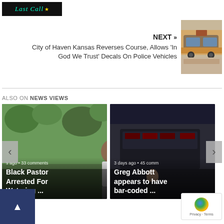[Figure (logo): Last Call logo on dark background with star icon]
NEXT »
City of Haven Kansas Reverses Course, Allows 'In God We Trust' Decals On Police Vehicles
[Figure (photo): Police truck with decorative decals parked outdoors]
ALSO ON NEWS VIEWS
[Figure (photo): Card 1: Black Pastor Arrested For Watering ... - s ago • 33 comments]
[Figure (photo): Card 2: Greg Abbott appears to have bar-coded ... - 3 days ago • 45 comments]